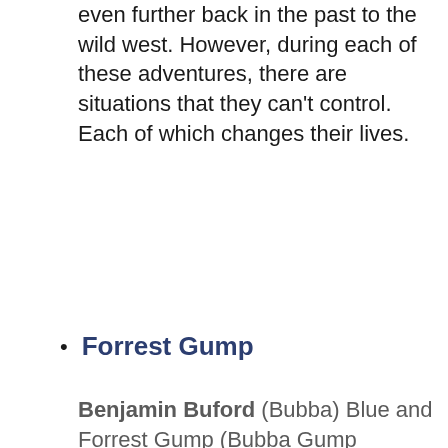even further back in the past to the wild west. However, during each of these adventures, there are situations that they can't control. Each of which changes their lives.
Forrest Gump
Benjamin Buford (Bubba) Blue and Forrest Gump (Bubba Gump Shrimp)